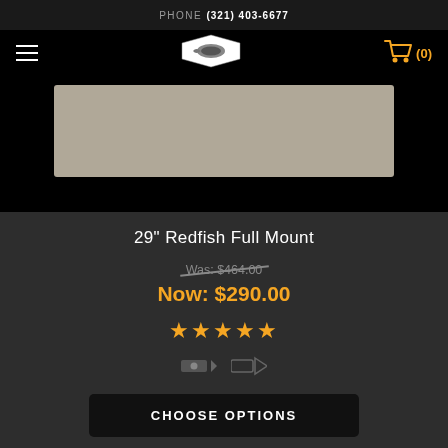PHONE (321) 403-6677
[Figure (logo): Fish mount store logo — white hexagon badge with fish silhouette]
[Figure (photo): Product image area showing a gray/beige mounted fish display]
29" Redfish Full Mount
Was: $464.00
Now: $290.00
[Figure (other): Five gold star rating]
[Figure (other): Two thumbnail/media type icons]
CHOOSE OPTIONS